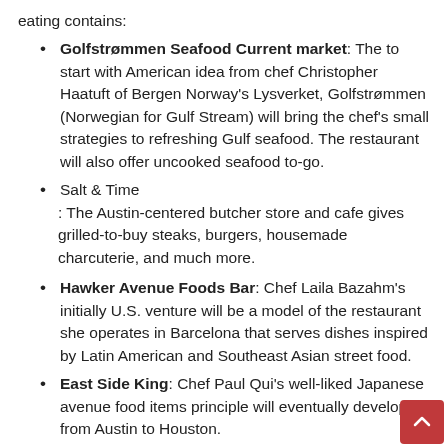eating contains:
Golfstrømmen Seafood Current market: The to start with American idea from chef Christopher Haatuft of Bergen Norway's Lysverket, Golfstrømmen (Norwegian for Gulf Stream) will bring the chef's small strategies to refreshing Gulf seafood. The restaurant will also offer uncooked seafood to-go.
Salt & Time
: The Austin-centered butcher store and cafe gives grilled-to-buy steaks, burgers, housemade charcuterie, and much more.
Hawker Avenue Foods Bar: Chef Laila Bazahm's initially U.S. venture will be a model of the restaurant she operates in Barcelona that serves dishes inspired by Latin American and Southeast Asian street food.
East Side King: Chef Paul Qui's well-liked Japanese avenue food items principle will eventually develop from Austin to Houston.
Soy Pinoy: Qui's next restaurant in the sector will provide Filipino fare, like Kinilawin, Vegan Kare Kare